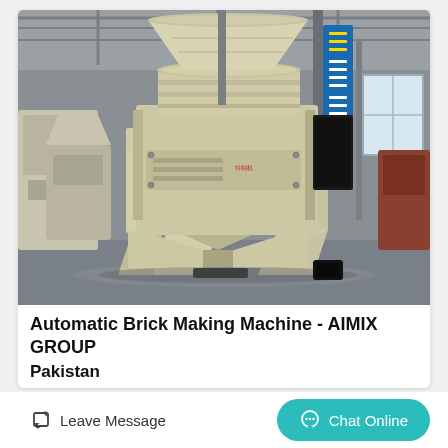[Figure (photo): Large industrial sand-making or crushing machine (cone/VSI crusher) painted in cream/beige color, standing on a factory floor inside a large warehouse. The machine has a conical top section and a wide frame base with diagonal support legs. Chinese safety banner visible in background. Other equipment visible on left and right sides.]
Automatic Brick Making Machine - AIMIX GROUP
Pakistan
Leave Message
Chat Online